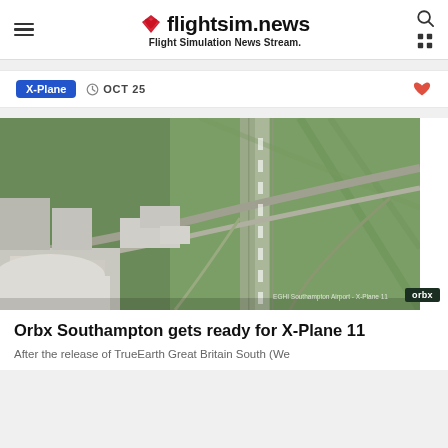flightsim.news — Flight Simulation News Stream.
X-Plane  OCT 25
[Figure (photo): Aerial view of Southampton Airport rendered in X-Plane 11 by Orbx, showing runways, taxiways, terminal buildings, and surrounding green fields. Orbx watermark visible in lower right corner.]
Orbx Southampton gets ready for X-Plane 11
After the release of TrueEarth Great Britain South (We